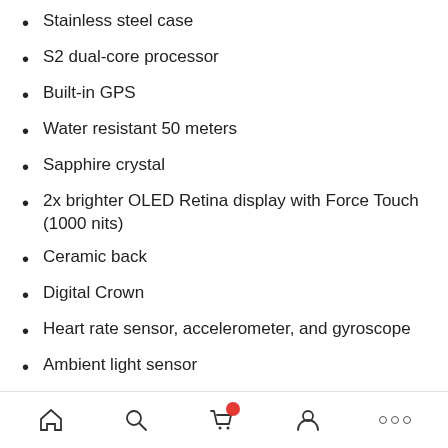Stainless steel case
S2 dual-core processor
Built-in GPS
Water resistant 50 meters
Sapphire crystal
2x brighter OLED Retina display with Force Touch (1000 nits)
Ceramic back
Digital Crown
Heart rate sensor, accelerometer, and gyroscope
Ambient light sensor
Direct fire speaker and microphone
Wi-Fi (802.11b/g/n 2.4GHz)
Bluetooth 4.0
Navigation bar with home, search, cart, account, and more icons